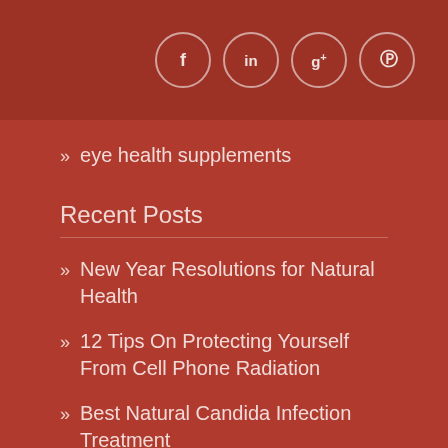[Figure (infographic): Social media icon buttons in circles: Facebook (f), LinkedIn (in), Google+ (g+), Pinterest (p)]
» eye health supplements
Recent Posts
» New Year Resolutions for Natural Health
» 12 Tips On Protecting Yourself From Cell Phone Radiation
» Best Natural Candida Infection Treatment
» Home Remedies for Dandruff